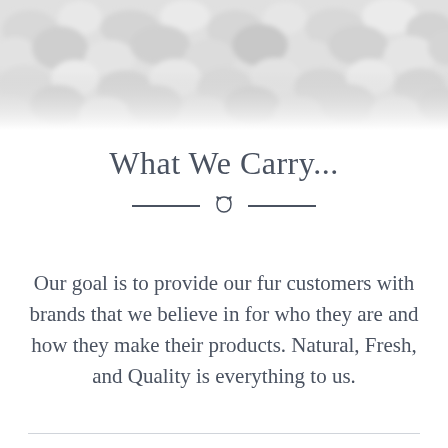[Figure (photo): Close-up photo of white fluffy textured fabric or yarn material, occupying the top portion of the page]
What We Carry...
Our goal is to provide our fur customers with brands that we believe in for who they are and how they make their products. Natural, Fresh, and Quality is everything to us.